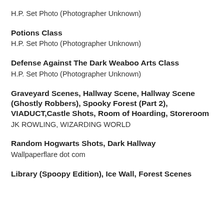H.P. Set Photo (Photographer Unknown)
Potions Class
H.P. Set Photo (Photographer Unknown)
Defense Against The Dark Weaboo Arts Class
H.P. Set Photo (Photographer Unknown)
Graveyard Scenes, Hallway Scene, Hallway Scene (Ghostly Robbers), Spooky Forest (Part 2), VIADUCT,Castle Shots, Room of Hoarding, Storeroom
JK ROWLING, WIZARDING WORLD
Random Hogwarts Shots, Dark Hallway
Wallpaperflare dot com
Library (Spoopy Edition), Ice Wall, Forest Scenes